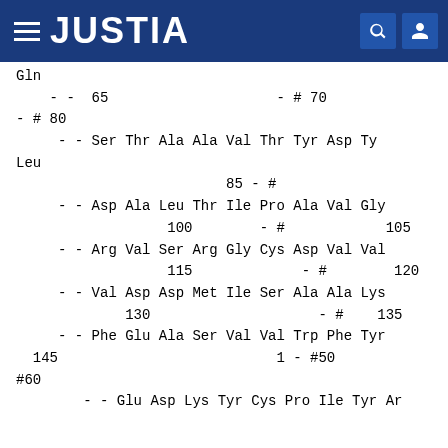JUSTIA
Gln
    - -  65                    - # 70
- # 80
     - - Ser Thr Ala Ala Val Thr Tyr Asp Ty
Leu
                         85 - #
     - - Asp Ala Leu Thr Ile Pro Ala Val Gly
                  100        - #            105
     - - Arg Val Ser Arg Gly Cys Asp Val Val
                  115             - #        120
     - - Val Asp Asp Met Ile Ser Ala Ala Lys
             130                    - #    135
     - - Phe Glu Ala Ser Val Val Trp Phe Tyr
  145                          1 - #50
#60
        - - Glu Asp Lys Tyr Cys Pro Ile Tyr Ar